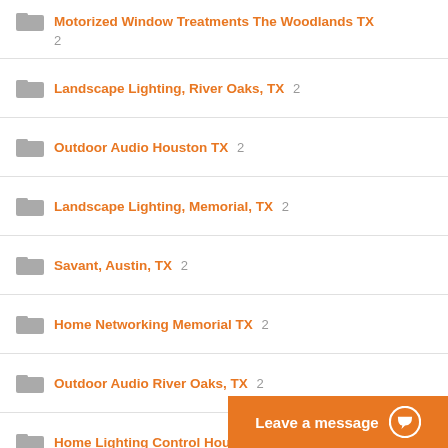Motorized Window Treatments The Woodlands TX 2
Landscape Lighting, River Oaks, TX 2
Outdoor Audio Houston TX 2
Landscape Lighting, Memorial, TX 2
Savant, Austin, TX 2
Home Networking Memorial TX 2
Outdoor Audio River Oaks, TX 2
Home Lighting Control Houston TX 2
Smart Home Control Houston TX 2
Custom Home Theater, The Woodlands, TX 2
Savant Systems H...